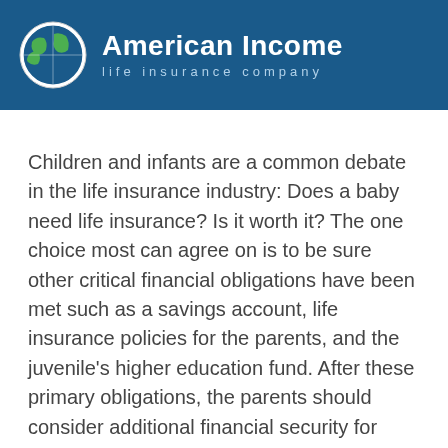American Income life insurance company
Children and infants are a common debate in the life insurance industry: Does a baby need life insurance? Is it worth it? The one choice most can agree on is to be sure other critical financial obligations have been met such as a savings account, life insurance policies for the parents, and the juvenile's higher education fund. After these primary obligations, the parents should consider additional financial security for their children.